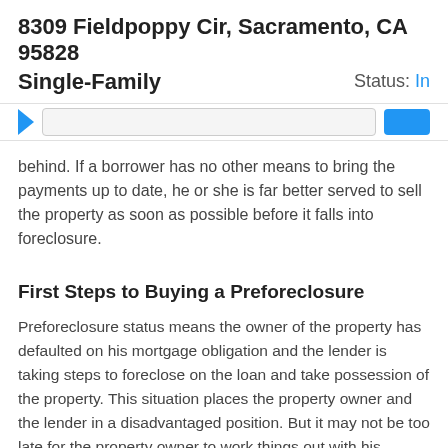8309 Fieldpoppy Cir, Sacramento, CA 95828
Single-Family
Status: In
[Figure (screenshot): Navigation bar with blue arrow/chevron icon, search input field, and blue button on the right]
behind. If a borrower has no other means to bring the payments up to date, he or she is far better served to sell the property as soon as possible before it falls into foreclosure.
First Steps to Buying a Preforeclosure
Preforeclosure status means the owner of the property has defaulted on his mortgage obligation and the lender is taking steps to foreclose on the loan and take possession of the property. This situation places the property owner and the lender in a disadvantaged position. But it may not be too late for the property owner to work things out with his lender.  At the same time the lender may be interested in allowing a short sale (sale of the property for less than the amount owed) just to avoid the costly process of foreclosure on the loan, and then the expense of marketing the property. That leaves open the